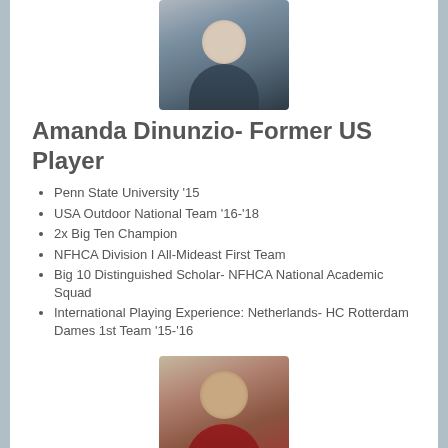[Figure (photo): Headshot photo of Amanda Dinunzio, a young woman with long dark hair, wearing a dark blue top, smiling]
Amanda Dinunzio- Former US Player
Penn State University '15
USA Outdoor National Team '16-'18
2x Big Ten Champion
NFHCA Division I All-Mideast First Team
Big 10 Distinguished Scholar- NFHCA National Academic Squad
International Playing Experience: Netherlands- HC Rotterdam Dames 1st Team '15-'16
[Figure (photo): Headshot photo of a young woman with dark hair, wearing a red top, smiling]